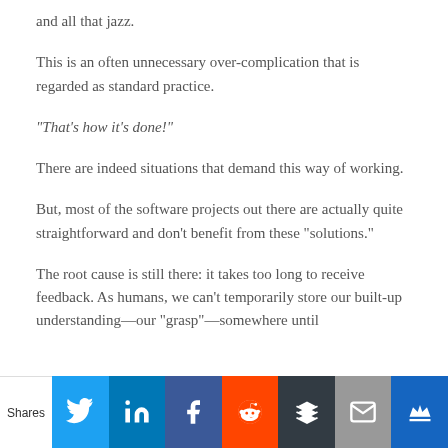and all that jazz.
This is an often unnecessary over-complication that is regarded as standard practice.
“That’s how it’s done!”
There are indeed situations that demand this way of working.
But, most of the software projects out there are actually quite straightforward and don’t benefit from these “solutions.”
The root cause is still there: it takes too long to receive feedback. As humans, we can’t temporarily store our built-up understanding—our “grasp”—somewhere until
Shares [Twitter] [LinkedIn] [Facebook] [Reddit] [Buffer] [Email] [King]